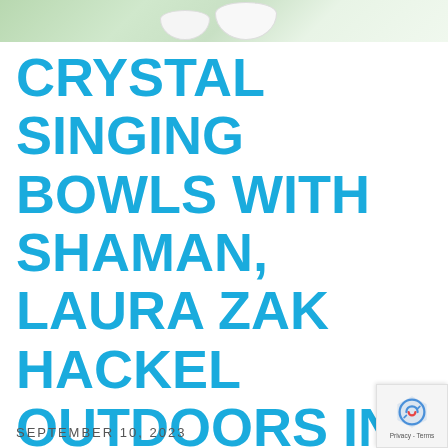[Figure (photo): Cropped top portion of a photo showing a person outdoors with crystal singing bowls on grass]
CRYSTAL SINGING BOWLS WITH SHAMAN, LAURA ZAK HACKEL OUTDOORS IN SUDBURY
SEPTEMBER 10, 2023